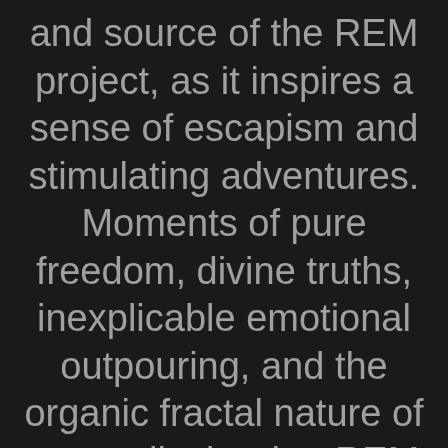and source of the REM project, as it inspires a sense of escapism and stimulating adventures. Moments of pure freedom, divine truths, inexplicable emotional outpouring, and the organic fractal nature of our reality is what REM strives to impart both visually and experientially